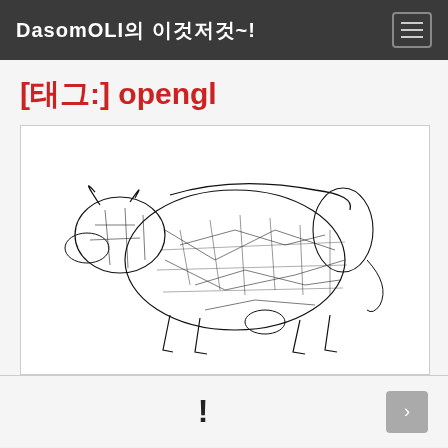DasomOLI의 이것저것~!
[태그:] opengl
[Figure (illustration): A wireframe/mesh rendering of a cow in black on white background, a classic OpenGL demo model showing the polygon mesh structure of a cow.]
!